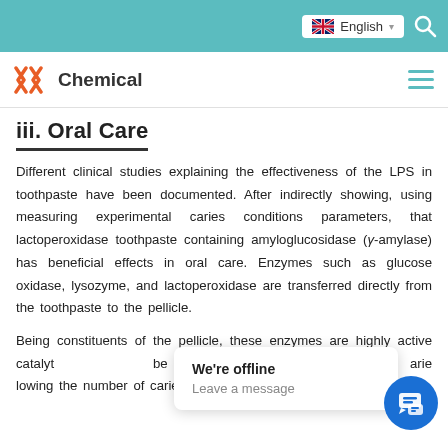English
[Figure (logo): XX Chemical logo with teal X icons and hamburger menu]
iii. Oral Care
Different clinical studies explaining the effectiveness of the LPS in toothpaste have been documented. After indirectly showing, using measuring experimental caries conditions parameters, that lactoperoxidase toothpaste containing amyloglucosidase (γ-amylase) has beneficial effects in oral care. Enzymes such as glucose oxidase, lysozyme, and lactoperoxidase are transferred directly from the toothpaste to the pellicle.
Being constituents of the pellicle, these enzymes are highly active catalyt... be effect of preventing... arie... lowing the number of caries which refer to old...